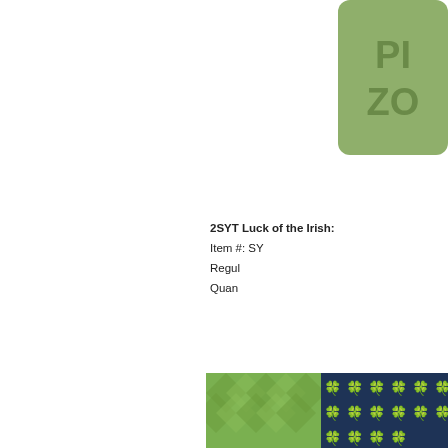[Figure (illustration): Green rounded rectangle box with lighter green text showing 'PI' and 'ZO' (partially visible), top-right corner]
2SYT Luck of the Irish: Item #: SY Regular: Quantity:
[Figure (photo): Good Luck scrapbook paper pack showing navy blue, green, and orange patterned papers with 'GOOD LUCK' text in green circle]
[Figure (photo): Circular label reading 'Snap' and 'LUCK O' with decorative border]
[Figure (photo): Bottom portion showing green argyle and shamrock patterned scrapbook papers]